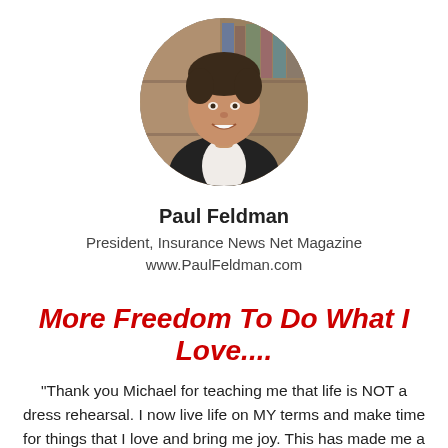[Figure (photo): Circular headshot photo of Paul Feldman, a man in a dark suit smiling, with bookshelves in the background]
Paul Feldman
President, Insurance News Net Magazine
www.PaulFeldman.com
More Freedom To Do What I Love....
"Thank you Michael for teaching me that life is NOT a dress rehearsal. I now live life on MY terms and make time for things that I love and bring me joy. This has made me a better Businessman, and a better friend, and a community leader. St...